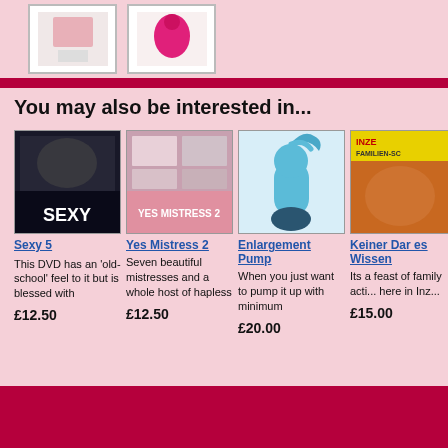[Figure (photo): Top strip with two product image thumbnails in white bordered boxes on pink background]
You may also be interested in...
[Figure (photo): DVD cover for Sexy 5 showing group of people]
Sexy 5
This DVD has an 'old-school' feel to it but is blessed with
£12.50
[Figure (photo): DVD cover for Yes Mistress 2]
Yes Mistress 2
Seven beautiful mistresses and a whole host of hapless
£12.50
[Figure (photo): Blue enlargement pump product photo]
Enlargement Pump
When you just want to pump it up with minimum
£20.00
[Figure (photo): DVD cover for Keiner Darf es Wissen, partially visible]
Keiner Darf es Wissen
Its a feast of family action here in Inz...
£15.00